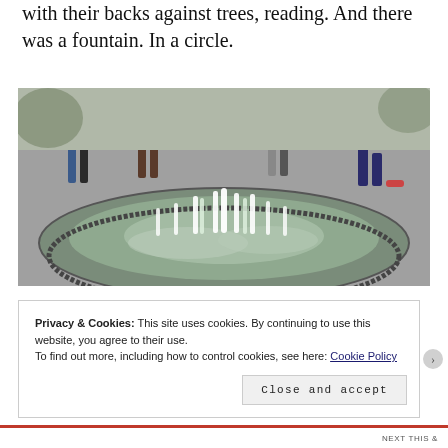with their backs against trees, reading. And there was a fountain. In a circle.
[Figure (photo): Circular ground-level fountain with multiple water jets shooting upward from a circular stone basin, surrounded by people walking in the background.]
Privacy & Cookies: This site uses cookies. By continuing to use this website, you agree to their use.
To find out more, including how to control cookies, see here: Cookie Policy
Close and accept